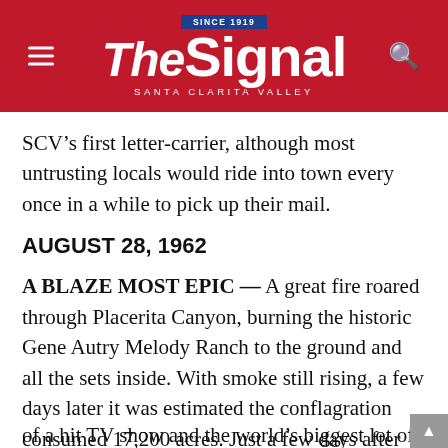The Signal — Santa Clarita Valley — Since 1919
SCV’s first letter-carrier, although most untrusting locals would ride into town every once in a while to pick up their mail.
AUGUST 28, 1962
A BLAZE MOST EPIC — A great fire roared through Placerita Canyon, burning the historic Gene Autry Melody Ranch to the ground and all the sets inside. With smoke still rising, a few days later it was estimated the conflagration consumed 17,200 acres. Just a few days after the inferno, producers of a hit TV show and the world’s biggest lot of fl…